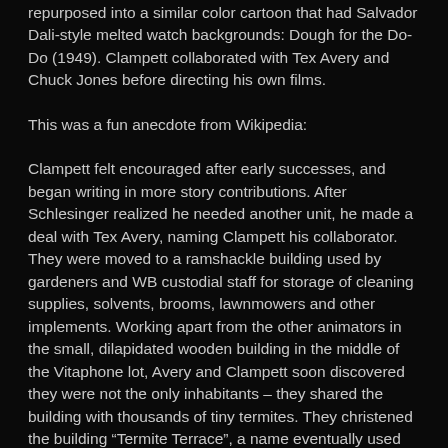repurposed into a similar color cartoon that had Salvador Dali-style melted watch backgrounds: Dough for the Do-Do (1949). Clampett collaborated with Tex Avery and Chuck Jones before directing his own films.
This was a fun anecdote from Wikipedia:
Clampett felt encouraged after early successes, and began writing in more story contributions. After Schlesinger realized he needed another unit, he made a deal with Tex Avery, naming Clampett his collaborator. They were moved to a ramshackle building used by gardeners and WB custodial staff for storage of cleaning supplies, solvents, brooms, lawnmowers and other implements. Working apart from the other animators in the small, dilapidated wooden building in the middle of the Vitaphone lot, Avery and Clampett soon discovered they were not the only inhabitants – they shared the building with thousands of tiny termites. They christened the building “Termite Terrace”, a name eventually used by fans and historians to describe the entire studio. The two soon developed an irreverent style of animation that would set Warner Bros. apart from its competitors. They were soon joined by animators Chuck Jones, Virgil Ross, and Sid Sutherland, and worked virtually without interference on their new, groundbreaking style of humor for the next year. It was a wild place with an almost college fraternity-like atmosphere. Animators would frequently pull pranks such as gluing paper streamers to the wings of flies. Leon